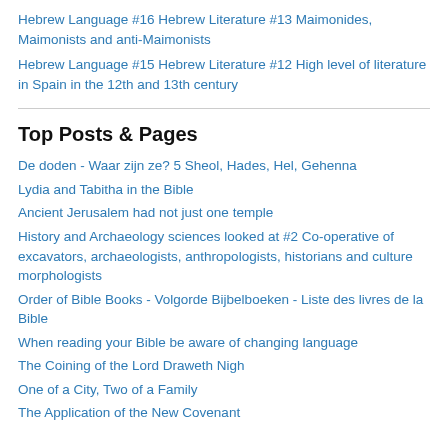Hebrew Language #16 Hebrew Literature #13 Maimonides, Maimonists and anti-Maimonists
Hebrew Language #15 Hebrew Literature #12 High level of literature in Spain in the 12th and 13th century
Top Posts & Pages
De doden - Waar zijn ze? 5 Sheol, Hades, Hel, Gehenna
Lydia and Tabitha in the Bible
Ancient Jerusalem had not just one temple
History and Archaeology sciences looked at #2 Co-operative of excavators, archaeologists, anthropologists, historians and culture morphologists
Order of Bible Books - Volgorde Bijbelboeken - Liste des livres de la Bible
When reading your Bible be aware of changing language
The Coining of the Lord Draweth Nigh
One of a City, Two of a Family
The Application of the New Covenant